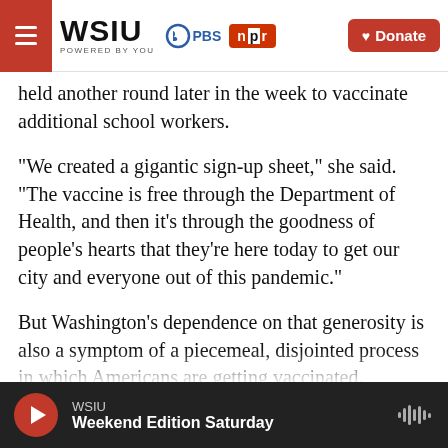WSIU POWERED BY YOU | PBS | NPR | Donate
held another round later in the week to vaccinate additional school workers.
"We created a gigantic sign-up sheet," she said. "The vaccine is free through the Department of Health, and then it's through the goodness of people's hearts that they're here today to get our city and everyone out of this pandemic."
But Washington's dependence on that generosity is also a symptom of a piecemeal, disjointed process in which Americans are getting vaccinated.
It also has to...
WSIU | Weekend Edition Saturday